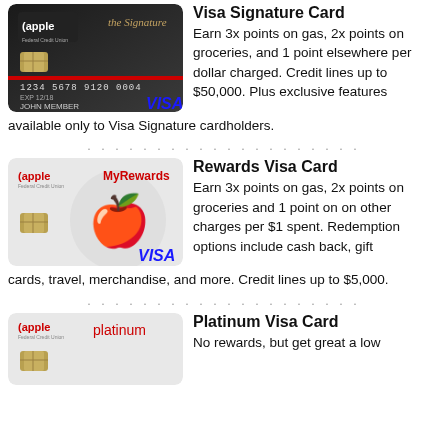[Figure (illustration): Apple Federal Credit Union Visa Signature Card — dark/black card with gold chip, number 1234 5678 9120 0004, exp 12/18, JOHN MEMBER, Visa logo]
Visa Signature Card
Earn 3x points on gas, 2x points on groceries, and 1 point elsewhere per dollar charged. Credit lines up to $50,000. Plus exclusive features available only to Visa Signature cardholders.
[Figure (illustration): Apple Federal Credit Union Rewards Visa Card — light gray card with MyRewards branding, apple logo watermark, Visa logo]
Rewards Visa Card
Earn 3x points on gas, 2x points on groceries and 1 point on on other charges per $1 spent. Redemption options include cash back, gift cards, travel, merchandise, and more. Credit lines up to $5,000.
[Figure (illustration): Apple Federal Credit Union Platinum Visa Card — light gray card with 'platinum' in red text, apple logo, chip]
Platinum Visa Card
No rewards, but get great a low